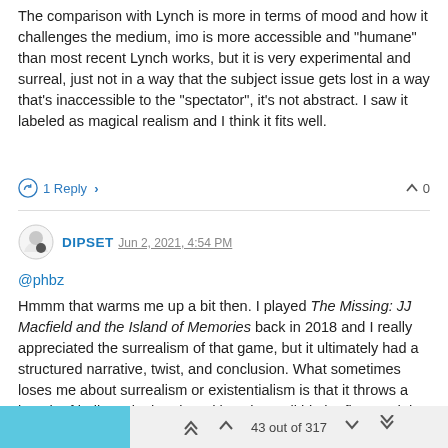The comparison with Lynch is more in terms of mood and how it challenges the medium, imo is more accessible and "humane" than most recent Lynch works, but it is very experimental and surreal, just not in a way that the subject issue gets lost in a way that's inaccessible to the "spectator", it's not abstract. I saw it labeled as magical realism and I think it fits well.
1 Reply >   ^ 0
DIPSET  Jun 2, 2021, 4:54 PM
@phbz
Hmmm that warms me up a bit then. I played The Missing: JJ Macfield and the Island of Memories back in 2018 and I really appreciated the surrealism of that game, but it ultimately had a structured narrative, twist, and conclusion. What sometimes loses me about surrealism or existentialism is that it throws a bunch of balls up in the air and lets them all hit the floor and that leaves me with little to latch onto.
So if there is a sort of human element to the storytelling then maybe I
43 out of 317